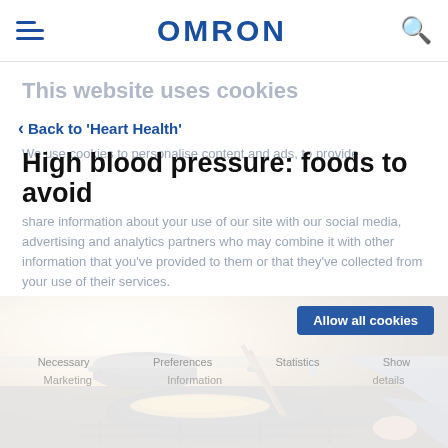OMRON
This website uses cookies
Back to 'Heart Health'
We use cookies to personalise content and ads, to provide
High blood pressure: foods to avoid
share information about your use of our site with our social media, advertising and analytics partners who may combine it with other information that you've provided to them or that they've collected from your use of their services.
[Figure (photo): Person cooking food in a frying pan on a gas stove, stirring with chopsticks, warmly lit kitchen background]
Allow all cookies
Necessary   Preferences   Statistics   Show details   Marketing
Show details